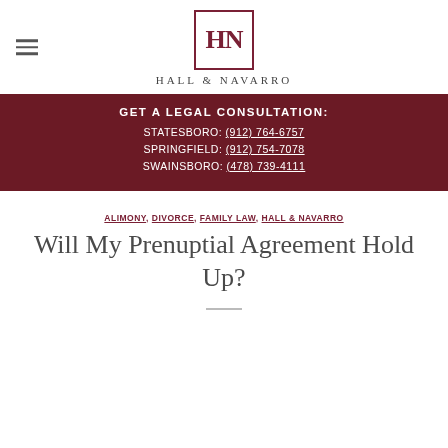Hall & Navarro
GET A LEGAL CONSULTATION: STATESBORO: (912) 764-6757 SPRINGFIELD: (912) 754-7078 SWAINSBORO: (478) 739-4111
ALIMONY, DIVORCE, FAMILY LAW, HALL & NAVARRO
Will My Prenuptial Agreement Hold Up?